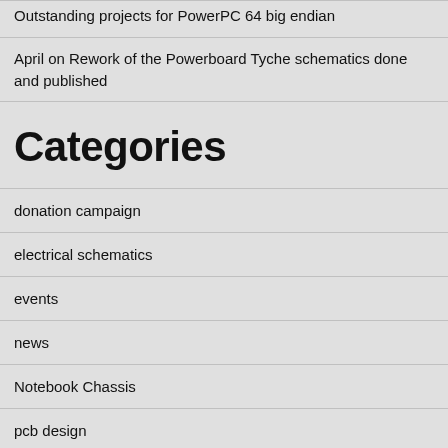Outstanding projects for PowerPC 64 big endian
April on Rework of the Powerboard Tyche schematics done and published
Categories
donation campaign
electrical schematics
events
news
Notebook Chassis
pcb design